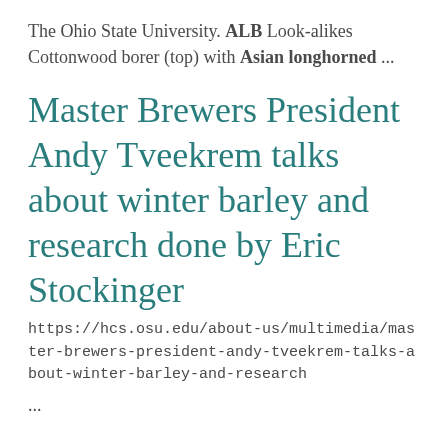The Ohio State University. ALB Look-alikes Cottonwood borer (top) with Asian longhorned ...
Master Brewers President Andy Tveekrem talks about winter barley and research done by Eric Stockinger
https://hcs.osu.edu/about-us/multimedia/master-brewers-president-andy-tveekrem-talks-about-winter-barley-and-research
...
Ohio Opportunity Zones in Community and Economic